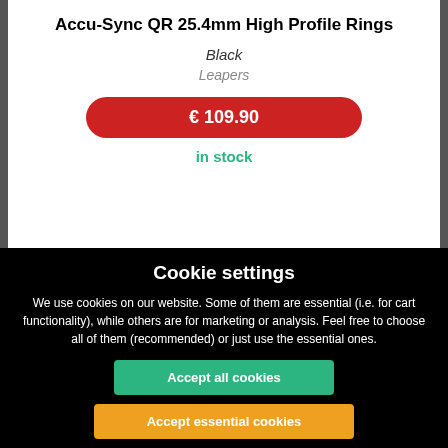Accu-Sync QR 25.4mm High Profile Rings
Black
Leapers
€ 109.90
in stock
Cookie settings
We use cookies on our website. Some of them are essential (i.e. for cart functionality), while others are for marketing or analysis. Feel free to choose all of them (recommended) or just use the essential ones.
Accept all cookies
Accept essential cookies
Refuse cookies